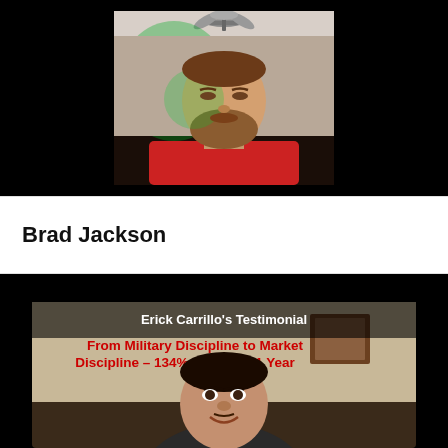[Figure (photo): Video screenshot of Brad Jackson, a man with a beard wearing a red shirt, illuminated with green light, against a black background video frame]
Brad Jackson
[Figure (screenshot): Video thumbnail for Erick Carrillo's Testimonial showing 'From Military Discipline to Market Discipline – 134% Return in 1 Year' with a young man smiling in the lower half of the image]